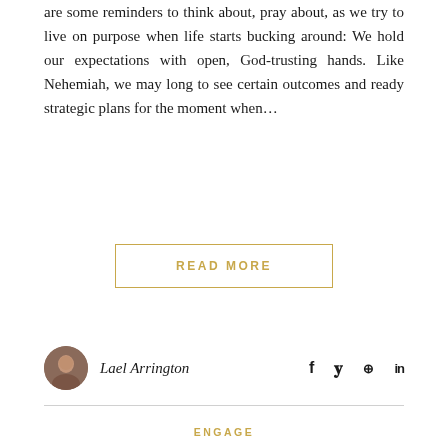are some reminders to think about, pray about, as we try to live on purpose when life starts bucking around: We hold our expectations with open, God-trusting hands. Like Nehemiah, we may long to see certain outcomes and ready strategic plans for the moment when...
READ MORE
Lael Arrington
ENGAGE
Disruption: Thoughts on Life and Chaos
July 15, 2015 / Comments Off